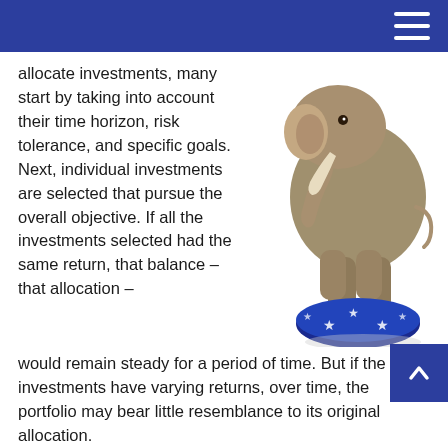allocate investments, many start by taking into account their time horizon, risk tolerance, and specific goals. Next, individual investments are selected that pursue the overall objective. If all the investments selected had the same return, that balance – that allocation – would remain steady for a period of time. But if the investments have varying returns, over time, the portfolio may bear little resemblance to its original allocation.
[Figure (photo): An elephant balancing on a blue ball decorated with white stars, shown against a white background.]
How Rebalancing Works